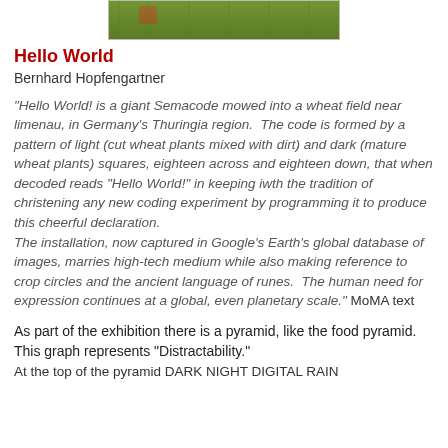[Figure (photo): Aerial or close-up photo of a wheat field with green grass and a red element visible, showing the Hello World Semacode crop installation.]
Hello World
Bernhard Hopfengartner
"Hello World! is a giant Semacode mowed into a wheat field near limenau, in Germany's Thuringia region.  The code is formed by a pattern of light (cut wheat plants mixed with dirt) and dark (mature wheat plants) squares, eighteen across and eighteen down, that when decoded reads "Hello World!" in keeping iwth the tradition of christening any new coding experiment by programming it to produce this cheerful declaration.
The installation, now captured in Google's Earth's global database of images, marries high-tech medium while also making reference to crop circles and the ancient language of runes.  The human need for expression continues at a global, even planetary scale." MoMA text
As part of the exhibition there is a pyramid, like the food pyramid.
This graph represents "Distractability."
At the top of the pyramid DARK NIGHT DIGITAL RAIN